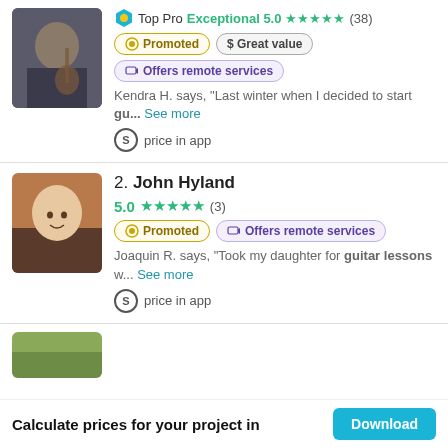[Figure (photo): Photo of a person playing guitar, partially visible at top]
Top Pro Exceptional 5.0 ★★★★★ (38)
Promoted
$ Great value
Offers remote services
Kendra H. says, "Last winter when I decided to start gu... See more
price in app
[Figure (photo): Profile photo of John Hyland, a smiling man]
2. John Hyland
5.0 ★★★★★ (3)
Promoted
Offers remote services
Joaquin R. says, "Took my daughter for guitar lessons w... See more
price in app
[Figure (photo): Partial photo of a third listing, bottom of page]
Calculate prices for your project in
Download